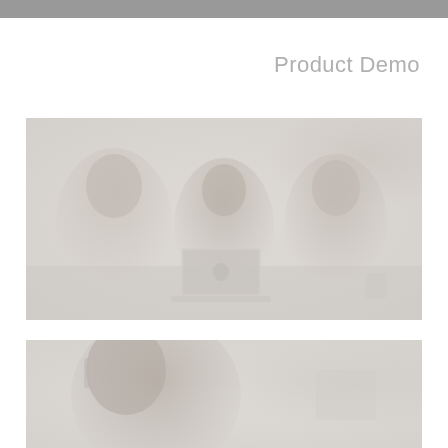Product Demo
[Figure (photo): Faded/washed-out photo of three people (two men and a woman) sitting at a table with an open laptop, appearing to have a business meeting or product demo discussion]
[Figure (photo): Faded/washed-out photo partially visible at the bottom of the page, showing a person's head and partial upper body, appears to be another business or meeting scene]